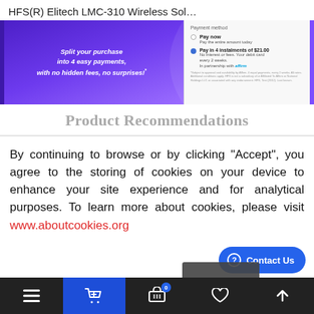HFS(R) Elitech LMC-310 Wireless Sol…
[Figure (screenshot): Promotional banner for split payment / installment plan (Affirm), showing purple background with text 'Split your purchase into 4 easy payments, with no hidden fees, no surprises!' alongside a payment method dialog and product listings on the right.]
Product Recommendations
By continuing to browse or by clicking "Accept", you agree to the storing of cookies on your device to enhance your site experience and for analytical purposes. To learn more about cookies, please visit www.aboutcookies.org